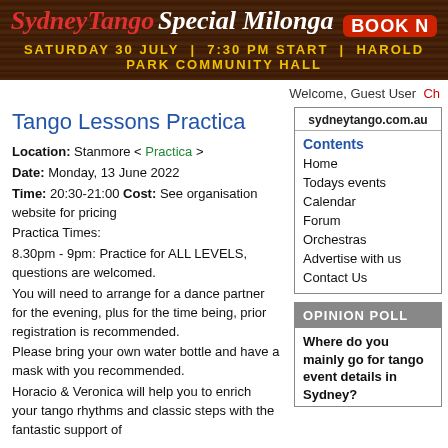[Figure (illustration): SydneyTango Special Milonga banner with wood texture background. Red italic 'SydneyTango', white italic 'Special Milonga', red rounded rectangle 'BOOK N' button. Yellow text below: SATURDAY 30 JULY | 7:30 PM START | HAROLD PARK COMMUNITY HALL]
Welcome, Guest User  Ch
Tango Lessons Practica
Location: Stanmore < Practica >
Date: Monday, 13 June 2022
Time: 20:30-21:00 Cost: See organisation website for pricing
Practica Times:
8.30pm - 9pm: Practice for ALL LEVELS, questions are welcomed.
You will need to arrange for a dance partner for the evening, plus for the time being, prior registration is recommended.
Please bring your own water bottle and have a mask with you recommended.
Horacio & Veronica will help you to enrich your tango rhythms and classic steps with the fantastic support of
sydneytango.com.au
Contents
Home
Todays events
Calendar
Forum
Orchestras
Advertise with us
Contact Us
OPINION POLL
Where do you mainly go for tango event details in Sydney?